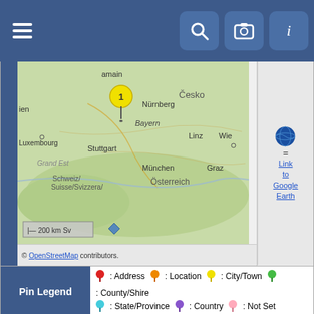Navigation bar with hamburger menu, search, camera, and info icons
[Figure (map): Map of central Europe showing Germany, Austria, Switzerland, Czech Republic (Česko), with cities Stuttgart, München, Nürnberg, Linz, Wien, Graz labeled. Yellow pin marker labeled '1' near Frankfurt am Main area. Scale bar shows 200 km.]
© OpenStreetMap contributors.
= Link to Google Earth
| Pin Legend |
| --- |
| Red pin: Address | Orange pin: Location | Yellow pin: City/Town | Green pin: County/Shire | Cyan pin: State/Province | Purple pin: Country | Pink pin: Not Set |
Switch to standard site
Note: This site uses cookies.
» More policy
This site powered by The Next Generation of Genealogy Sitebuilding v. 13.0.4, written by Darrin Lythgoe © 2001-2022.
Maintained by Devantie. | Data Protection Policy.